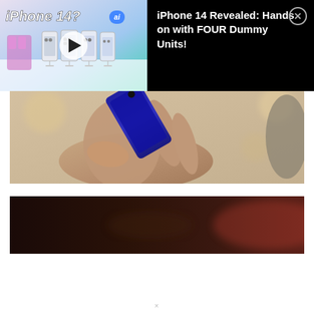[Figure (screenshot): Video thumbnail showing iPhone 14 dummy units on a white table with 'iPhone 14?' text overlay and 'ai' badge, with a play button in the center]
iPhone 14 Revealed: Hands on with FOUR Dummy Units!
[Figure (photo): Close-up blurred photo of a hand holding a dark smartphone, bokeh background]
[Figure (photo): Dark blurred video frame, mostly dark tones with reddish hue on right side]